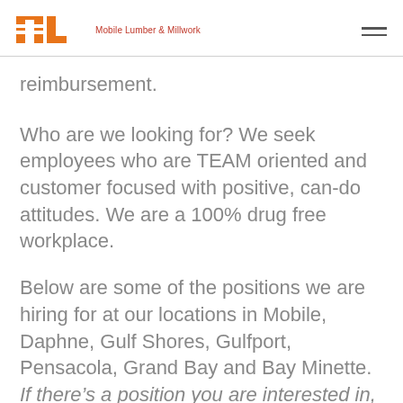Mobile Lumber & Millwork
reimbursement.
Who are we looking for? We seek employees who are TEAM oriented and customer focused with positive, can-do attitudes. We are a 100% drug free workplace.
Below are some of the positions we are hiring for at our locations in Mobile, Daphne, Gulf Shores, Gulfport, Pensacola, Grand Bay and Bay Minette. If there’s a position you are interested in, but don’t see it listed, please inquire! We are growing and